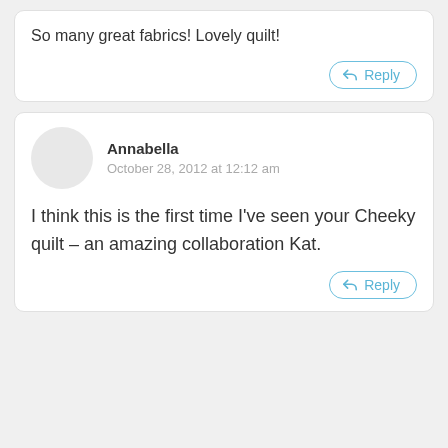So many great fabrics! Lovely quilt!
Reply
Annabella
October 28, 2012 at 12:12 am
I think this is the first time I’ve seen your Cheeky quilt – an amazing collaboration Kat.
Reply